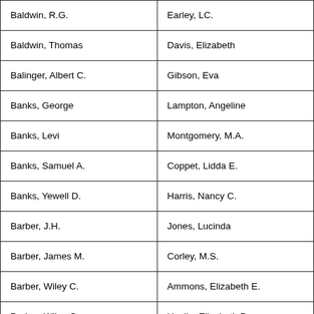| Baldwin, R.G. | Earley, LC. |
| Baldwin, Thomas | Davis, Elizabeth |
| Balinger, Albert C. | Gibson, Eva |
| Banks, George | Lampton, Angeline |
| Banks, Levi | Montgomery, M.A. |
| Banks, Samuel A. | Coppet, Lidda E. |
| Banks, Yewell D. | Harris, Nancy C. |
| Barber, J.H. | Jones, Lucinda |
| Barber, James M. | Corley, M.S. |
| Barber, Wiley C. | Ammons, Elizabeth E. |
| Barber, Wiley C. | Heslip, Elizabeth B. |
| Barnes, Amos | Bryant, Ellen |
| Barnett, Berry A. | Martin, Elizabeth E. |
| Barnett, John C.C. | Sids, Mary E. |